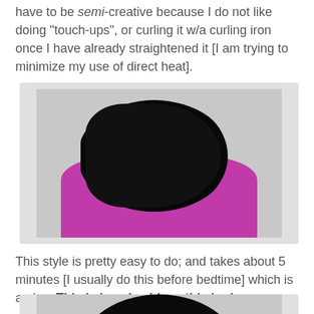have to be semi-creative because I do not like doing "touch-ups", or curling it w/a curling iron once I have already straightened it [I am trying to minimize my use of direct heat].
[Figure (photo): Side profile photo of a woman with long black wavy hair wearing a pink/magenta shirt, against a light background.]
This style is pretty easy to do; and takes about 5 minutes [I usually do this before bedtime] which is a plus. This is how I achieve this look:
[Figure (photo): Close-up photo of the top/front of a woman's head showing pinned/rolled sections of dark hair against a light background.]